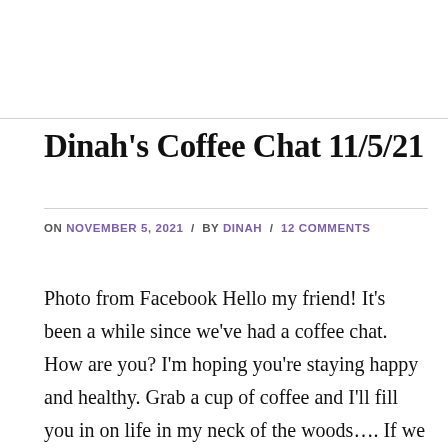Dinah's Coffee Chat 11/5/21
ON NOVEMBER 5, 2021 / BY DINAH / 12 COMMENTS
Photo from Facebook Hello my friend! It's been a while since we've had a coffee chat. How are you? I'm hoping you're staying happy and healthy. Grab a cup of coffee and I'll fill you in on life in my neck of the woods…. If we were having coffee….I'd tell you that it's been a …